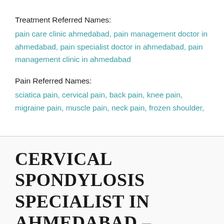Treatment Referred Names:
pain care clinic ahmedabad, pain management doctor in ahmedabad, pain specialist doctor in ahmedabad, pain management clinic in ahmedabad
Pain Referred Names:
sciatica pain, cervical pain, back pain, knee pain, migraine pain, muscle pain, neck pain, frozen shoulder,
CERVICAL SPONDYLOSIS SPECIALIST IN AHMEDABAD – HEALER NISHA PAIN MANAGEMENT